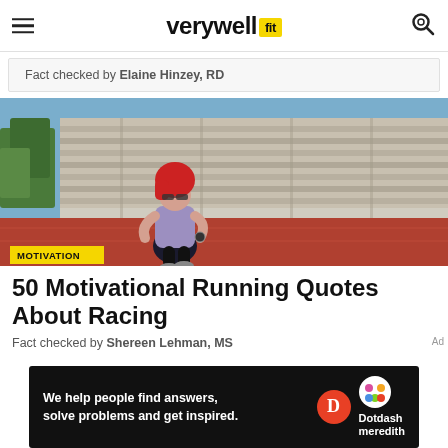verywell fit
Fact checked by Elaine Hinzey, RD
[Figure (photo): Woman with red hair wearing a purple tank top and black leggings running on an outdoor athletics track with concrete stadium bleachers in the background. Yellow 'MOTIVATION' badge overlaid at bottom left.]
50 Motivational Running Quotes About Racing
Fact checked by Shereen Lehman, MS
[Figure (other): Dotdash Meredith advertisement banner: 'We help people find answers, solve problems and get inspired.' with Dotdash Meredith logos on black background.]